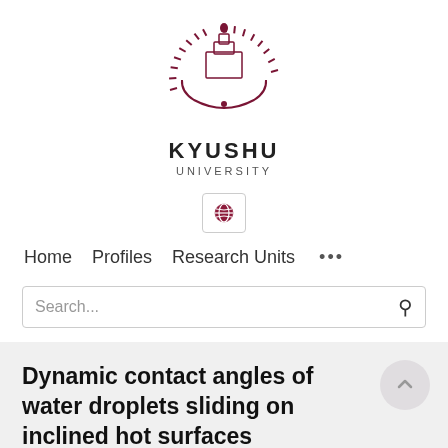[Figure (logo): Kyushu University crest/logo — dark crimson sunburst/fan design with a torch and buildings at center, circular arrangement]
KYUSHU
UNIVERSITY
[Figure (screenshot): Globe icon in a rounded rectangle button — website language selector]
Home   Profiles   Research Units   ...
Search...
Dynamic contact angles of water droplets sliding on inclined hot surfaces